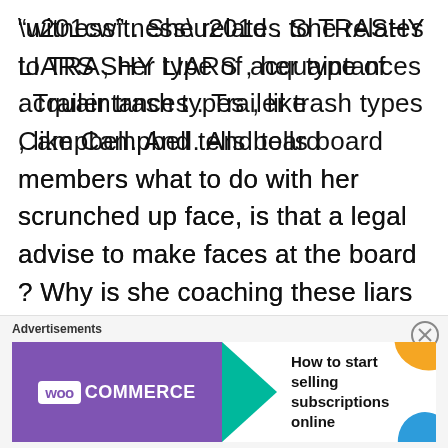“witness” . She relates to TRASHY LIARS , her type of acquaintances . Trailer trash types , like Campbell. And tells board members what to do with her scrunched up face, is that a legal advise to make faces at the board ? Why is she coaching these liars when speaking, she’s a
Advertisements
[Figure (other): WooCommerce advertisement banner: purple box with WooCommerce logo and teal arrow, text 'How to start selling subscriptions online', orange and blue decorative shapes on right]